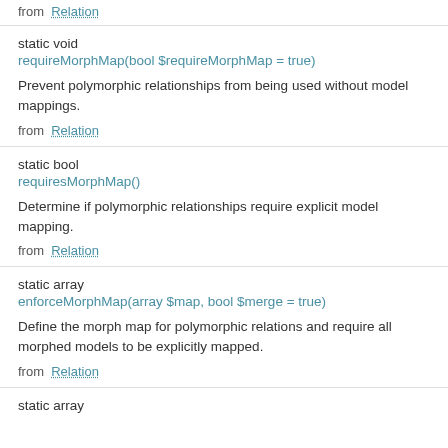from  Relation
static void
requireMorphMap(bool $requireMorphMap = true)
Prevent polymorphic relationships from being used without model mappings.
from  Relation
static bool
requiresMorphMap()
Determine if polymorphic relationships require explicit model mapping.
from  Relation
static array
enforceMorphMap(array $map, bool $merge = true)
Define the morph map for polymorphic relations and require all morphed models to be explicitly mapped.
from  Relation
static array